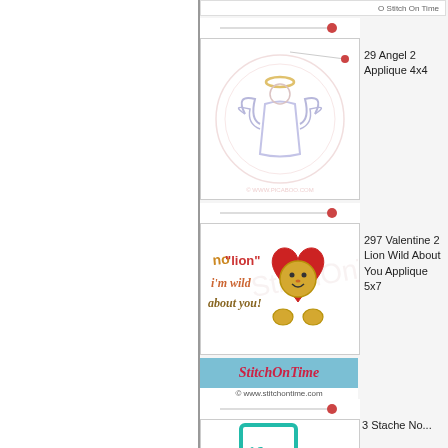[Figure (illustration): Partial top strip with 'O Stitch On Time' text on right side]
[Figure (illustration): Angel applique embroidery design with watermark circle, needle and thread divider above]
29 Angel 2 Applique 4x4
[Figure (illustration): Valentine No Lion I'm Wild About You lion heart applique design with needle divider above]
297 Valentine 2 Lion Wild About You Applique 5x7
[Figure (illustration): Stitch On Time banner header with website URL and partial 'if you' teal embroidery design below]
3 Stache No...